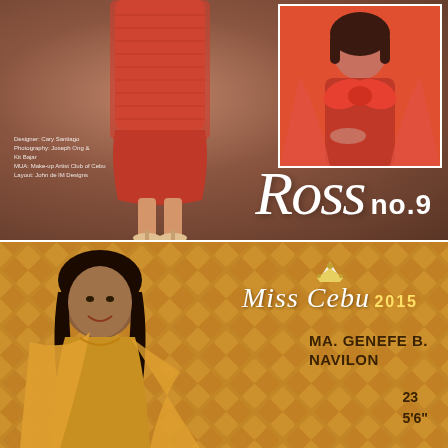[Figure (photo): Fashion editorial photo: red textured dress and high heels on model (cropped, no face visible), with inset portrait photo of woman in red dress with large bow/drape detail. Script text 'Ross no.9' overlaid. Credits text including Designer: Cary Santiago, Photography: Joseph Ong & Kit Bajar, MUA: Make-up Artist Club of Cebu, Layout: John de lM Designs]
Designer: Cary Santiago
Photography: Joseph Ong &
Kit Bajar
MUA: Make-up Artist Club of Cebu
Layout: John de lM Designs
Ross no.9
[Figure (photo): Miss Cebu 2015 pageant profile card. Background is golden woven bamboo/rattan pattern. Woman in golden/yellow drape dress smiling. Logo 'Miss Cebu 2015' in script with crown emblem. Contestant info: MA. GENEFE B. NAVILON, Age 23, Height 5'6"]
Miss Cebu 2015
MA. GENEFE B. NAVILON
23
5'6"